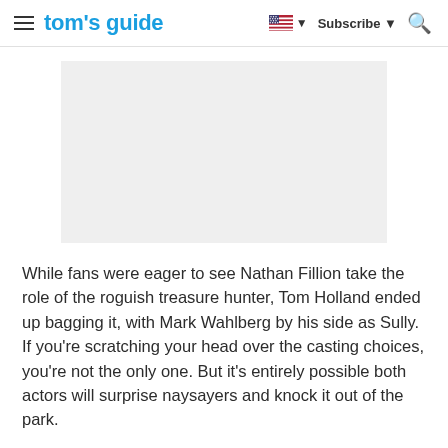tom's guide — Subscribe — Search
[Figure (other): Gray advertisement placeholder rectangle]
While fans were eager to see Nathan Fillion take the role of the roguish treasure hunter, Tom Holland ended up bagging it, with Mark Wahlberg by his side as Sully. If you're scratching your head over the casting choices, you're not the only one. But it's entirely possible both actors will surprise naysayers and knock it out of the park.
The best streaming services to watch movies, live